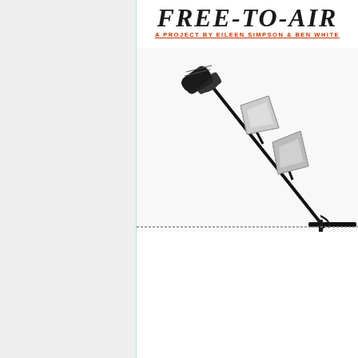FREE-TO-AIR
A PROJECT BY EILEEN SIMPSON & BEN WHITE
[Figure (photo): Black and white photograph of a microphone on a stand with two spotlight/lamp fixtures attached, angled diagonally against a white background. The equipment appears to be radio or broadcast equipment.]